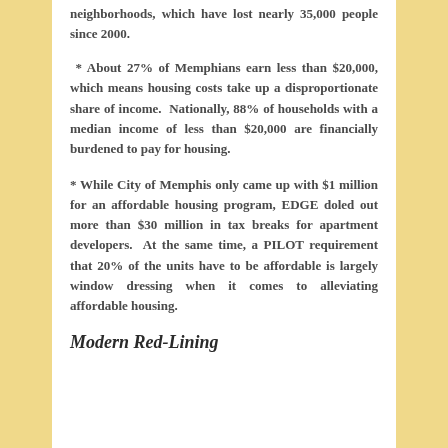neighborhoods, which have lost nearly 35,000 people since 2000.
* About 27% of Memphians earn less than $20,000, which means housing costs take up a disproportionate share of income.  Nationally, 88% of households with a median income of less than $20,000 are financially burdened to pay for housing.
* While City of Memphis only came up with $1 million for an affordable housing program, EDGE doled out more than $30 million in tax breaks for apartment developers.  At the same time, a PILOT requirement that 20% of the units have to be affordable is largely window dressing when it comes to alleviating affordable housing.
Modern Red-Lining